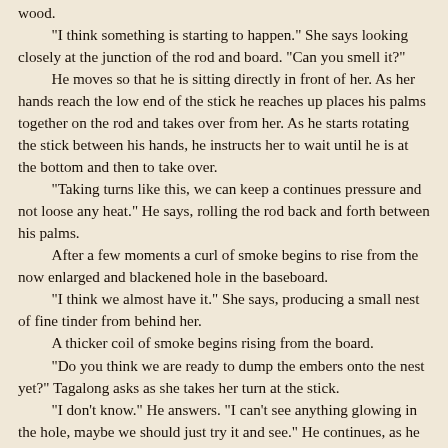wood.
"I think something is starting to happen." She says looking closely at the junction of the rod and board. "Can you smell it?"
 He moves so that he is sitting directly in front of her. As her hands reach the low end of the stick he reaches up places his palms together on the rod and takes over from her. As he starts rotating the stick between his hands, he instructs her to wait until he is at the bottom and then to take over.
 "Taking turns like this, we can keep a continues pressure and not loose any heat." He says, rolling the rod back and forth between his palms.
 After a few moments a curl of smoke begins to rise from the now enlarged and blackened hole in the baseboard.
 "I think we almost have it." She says, producing a small nest of fine tinder from behind her.
 A thicker coil of smoke begins rising from the board.
 "Do you think we are ready to dump the embers onto the nest yet?" Tagalong asks as she takes her turn at the stick.
 "I don't know." He answers. "I can't see anything glowing in the hole, maybe we should just try it and see." He continues, as he moves the tinder closer.
 "Okay, Now!" He cries as he reaches the bottom of his stroke.
 He lifts the rod and Tagalong turns the board over on the nest. All that falls out is pinch of carbonized wood dust no glowing embers to blow into life. Only warm black dust.
 "Shoot!" she whispers, and they both look at the stick...